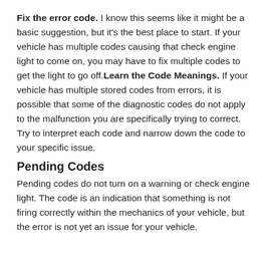Fix the error code. I know this seems like it might be a basic suggestion, but it's the best place to start. If your vehicle has multiple codes causing that check engine light to come on, you may have to fix multiple codes to get the light to go off.Learn the Code Meanings. If your vehicle has multiple stored codes from errors, it is possible that some of the diagnostic codes do not apply to the malfunction you are specifically trying to correct. Try to interpret each code and narrow down the code to your specific issue.
Pending Codes
Pending codes do not turn on a warning or check engine light. The code is an indication that something is not firing correctly within the mechanics of your vehicle, but the error is not yet an issue for your vehicle.